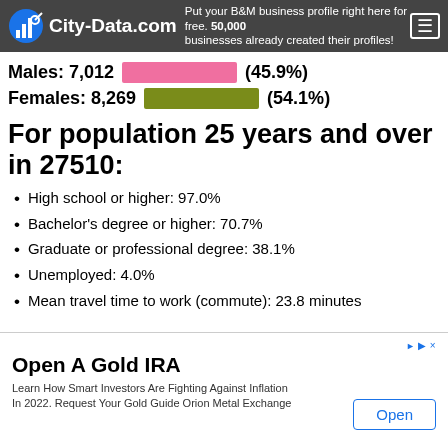City-Data.com — Put your B&M business profile right here for free. 50,000 businesses already created their profiles!
Males: 7,012  (45.9%)
Females: 8,269  (54.1%)
For population 25 years and over in 27510:
High school or higher: 97.0%
Bachelor's degree or higher: 70.7%
Graduate or professional degree: 38.1%
Unemployed: 4.0%
Mean travel time to work (commute): 23.8 minutes
Open A Gold IRA — Learn How Smart Investors Are Fighting Against Inflation In 2022. Request Your Gold Guide Orion Metal Exchange